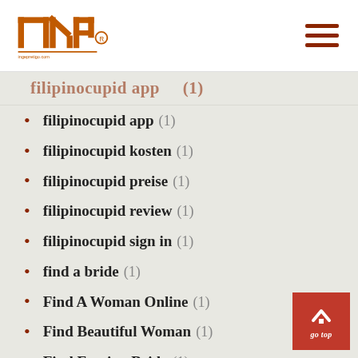INP logo and navigation
filipinocupid app (1)
filipinocupid kosten (1)
filipinocupid preise (1)
filipinocupid review (1)
filipinocupid sign in (1)
find a bride (1)
Find A Woman Online (1)
Find Beautiful Woman (1)
Find Foreign Bride (1)
Find Gorgeous Woman (1)